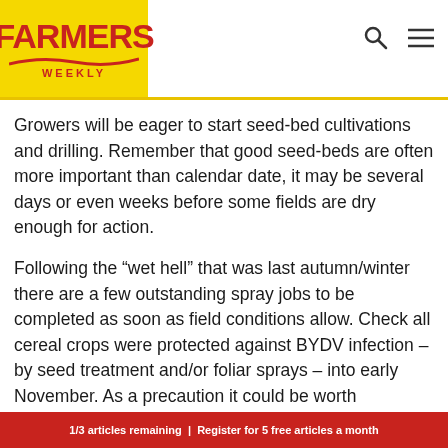[Figure (logo): Farmers Weekly logo — yellow background with red text reading FARMERS WEEKLY, with a red swoosh underneath]
Growers will be eager to start seed-bed cultivations and drilling. Remember that good seed-beds are often more important than calendar date, it may be several days or even weeks before some fields are dry enough for action.
Following the “wet hell” that was last autumn/winter there are a few outstanding spray jobs to be completed as soon as field conditions allow. Check all cereal crops were protected against BYDV infection – by seed treatment and/or foliar sprays – into early November. As a precaution it could be worth controlling any overwintered populations in these crops before colonies expand and spread the virus in early spring.
1/3 articles remaining | Register for 5 free articles a month